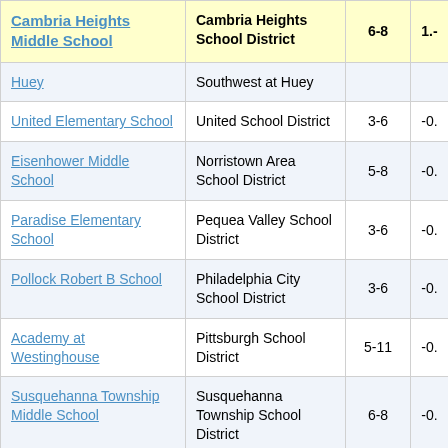| School | District | Grades | Score |
| --- | --- | --- | --- |
| Cambria Heights Middle School | Cambria Heights School District | 6-8 | 1.- |
| Huey | Southwest at Huey |  |  |
| United Elementary School | United School District | 3-6 | -0. |
| Eisenhower Middle School | Norristown Area School District | 5-8 | -0. |
| Paradise Elementary School | Pequea Valley School District | 3-6 | -0. |
| Pollock Robert B School | Philadelphia City School District | 3-6 | -0. |
| Academy at Westinghouse | Pittsburgh School District | 5-11 | -0. |
| Susquehanna Township Middle School | Susquehanna Township School District | 6-8 | -0. |